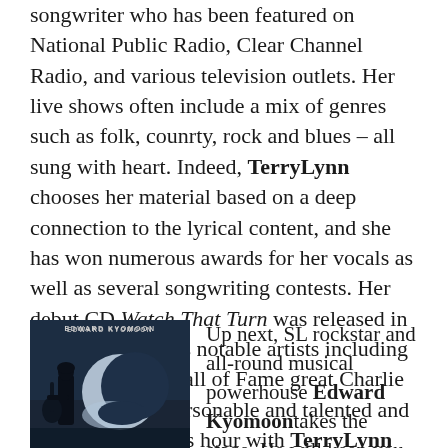songwriter who has been featured on National Public Radio, Clear Channel Radio, and various television outlets. Her live shows often include a mix of genres such as folk, counrty, rock and blues – all sung with heart. Indeed, TerryLynn chooses her material based on a deep connection to the lyrical content, and she has won numerous awards for her vocals as well as several songwriting contests. Her debut CD Watch That Turn was released in 2011, and features notable artists including Country Music Hall of Fame great Charlie McCoy. She is personable and talented and you will enjoy this hour with TerryLynn Melody, guaranteed!
[Figure (photo): Photo of Edward Kyomoon — dark background with moon crescent and silhouette of person with guitar, caption reads EDWARD KYOMOON]
Up next, SL rockstar and all-round musical powerhouse Edward Kyomoontakes the stage. He will keep you going from the first chord